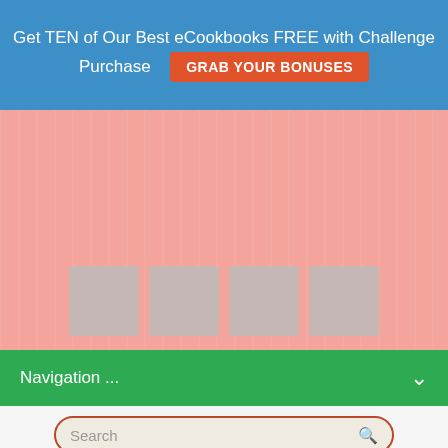Get TEN of Our Best eCookbooks FREE with Challenge Purchase  GRAB YOUR BONUSES
[Figure (illustration): Pink wood-textured hero banner with four gray placeholder thumbnail squares at the bottom]
Navigation ...
[Figure (screenshot): Search bar with orange-red border and search icon on beige background]
Blog